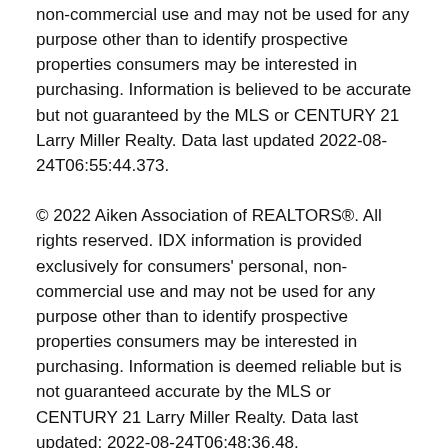non-commercial use and may not be used for any purpose other than to identify prospective properties consumers may be interested in purchasing. Information is believed to be accurate but not guaranteed by the MLS or CENTURY 21 Larry Miller Realty. Data last updated 2022-08-24T06:55:44.373.
© 2022 Aiken Association of REALTORS®. All rights reserved. IDX information is provided exclusively for consumers' personal, non-commercial use and may not be used for any purpose other than to identify prospective properties consumers may be interested in purchasing. Information is deemed reliable but is not guaranteed accurate by the MLS or CENTURY 21 Larry Miller Realty. Data last updated: 2022-08-24T06:48:36.48.
BoomTown! © 2022 | Terms of Use | Privacy Policy | Accessibility | DMCA | Listings Sitemap
Take a Tour | Ask A Question